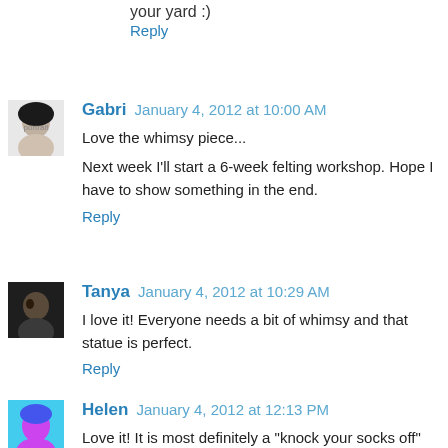your yard :)
Reply
Gabri January 4, 2012 at 10:00 AM
Love the whimsy piece...
Next week I'll start a 6-week felting workshop. Hope I have to show something in the end.
Reply
Tanya January 4, 2012 at 10:29 AM
I love it! Everyone needs a bit of whimsy and that statue is perfect.
Reply
Helen January 4, 2012 at 12:13 PM
Love it! It is most definitely a "knock your socks off" piece!